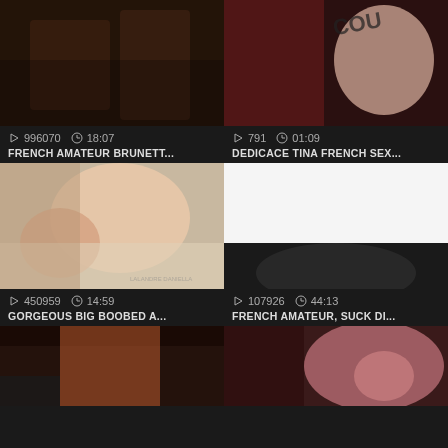[Figure (screenshot): Video thumbnail grid showing adult video website with 6 video cards in 2-column layout]
996070  18:07
FRENCH AMATEUR BRUNETT...
791  01:09
DEDICACE TINA FRENCH SEX...
450959  14:59
GORGEOUS BIG BOOBED A...
107926  44:13
FRENCH AMATEUR, SUCK DI...